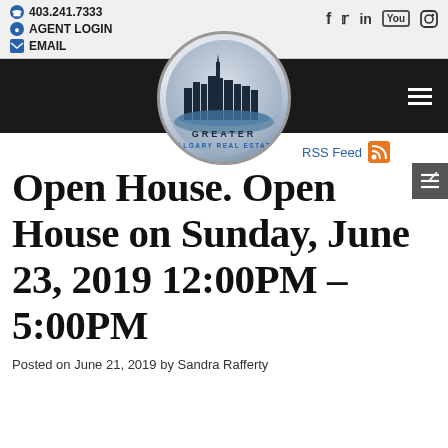403.241.7333 | AGENT LOGIN | EMAIL | (social icons: f, twitter, in, YouTube, Instagram)
[Figure (logo): Greater Calgary Real Estate circular logo with city skyline silhouette]
RSS Feed
Open House. Open House on Sunday, June 23, 2019 12:00PM - 5:00PM
Posted on June 21, 2019 by Sandra Rafferty